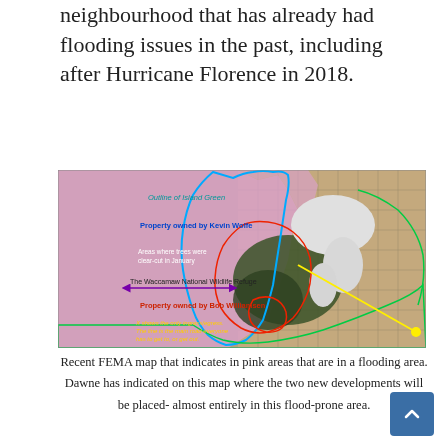neighbourhood that has already had flooding issues in the past, including after Hurricane Florence in 2018.
[Figure (map): Aerial/satellite map with pink flood zone overlay showing Island Green area. Labels indicate: Outline of Island Green (blue border), Property owned by Kevin Wolfe (blue text), Areas where trees were clear-cut in January (white text), The Waccamaw National Wildlife Refuge (purple arrow), Property owned by Bob Williamsen (red text), yellow text indicating the only ingress/egress road. Red outlines show property boundaries, green outlines show additional areas, yellow line shows road access, white areas show cleared land.]
Recent FEMA map that indicates in pink areas that are in a flooding area. Dawne has indicated on this map where the two new developments will be placed- almost entirely in this flood-prone area.